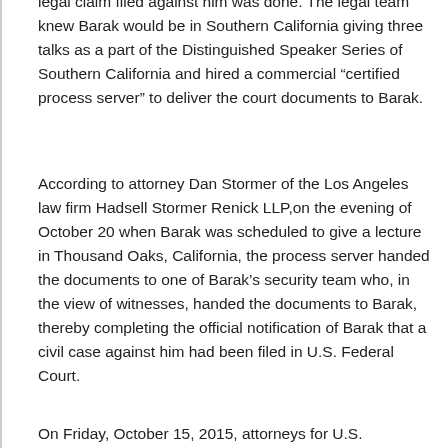legal claim filed against him was done. The legal team knew Barak would be in Southern California giving three talks as a part of the Distinguished Speaker Series of Southern California and hired a commercial “certified process server” to deliver the court documents to Barak.
According to attorney Dan Stormer of the Los Angeles law firm Hadsell Stormer Renick LLP,on the evening of October 20 when Barak was scheduled to give a lecture in Thousand Oaks, California, the process server handed the documents to one of Barak’s security team who, in the view of witnesses, handed the documents to Barak, thereby completing the official notification of Barak that a civil case against him had been filed in U.S. Federal Court.
On Friday, October 15, 2015, attorneys for U.S.